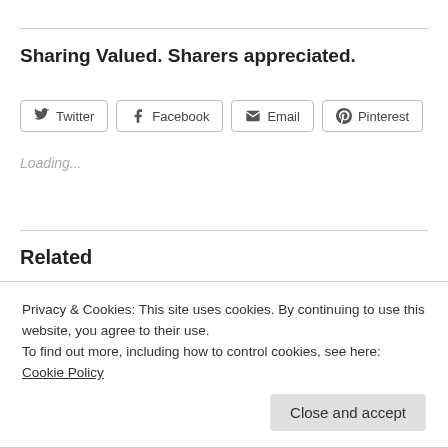Sharing Valued. Sharers appreciated.
[Figure (infographic): Social share buttons: Twitter, Facebook, Email, Pinterest]
Loading...
Related
Doing It My Way: I'm No Mother Warrior
June 6, 2013
Privacy & Cookies: This site uses cookies. By continuing to use this website, you agree to their use.
To find out more, including how to control cookies, see here: Cookie Policy
Close and accept